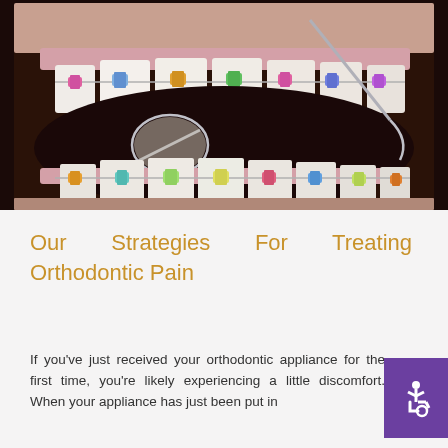[Figure (photo): Close-up photo of a person's open mouth showing teeth with colorful orthodontic braces and brackets, with a dental mirror tool visible]
Our Strategies For Treating Orthodontic Pain
If you've just received your orthodontic appliance for the first time, you're likely experiencing a little discomfort. When your appliance has just been put in